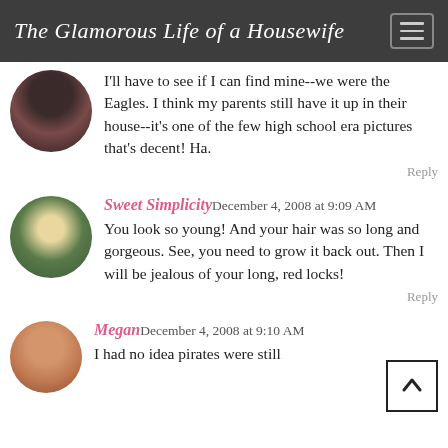The Glamorous Life of a Housewife
I'll have to see if I can find mine--we were the Eagles. I think my parents still have it up in their house--it's one of the few high school era pictures that's decent! Ha.
Reply
Sweet Simplicity December 4, 2008 at 9:09 AM
You look so young! And your hair was so long and gorgeous. See, you need to grow it back out. Then I will be jealous of your long, red locks!
Reply
Megan December 4, 2008 at 9:10 AM
I had no idea pirates were still